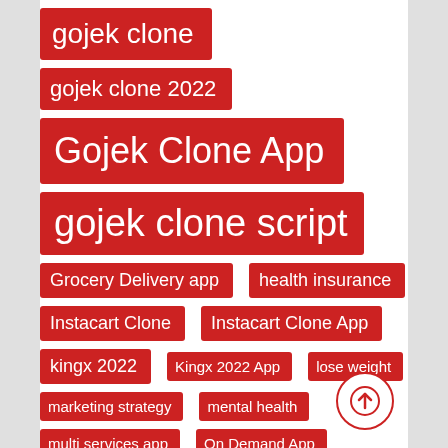gojek clone
gojek clone 2022
Gojek Clone App
gojek clone script
Grocery Delivery app
health insurance
Instacart Clone
Instacart Clone App
kingx 2022
Kingx 2022 App
lose weight
marketing strategy
mental health
multi services app
On Demand App
on demand grocery delivery app
online shopping